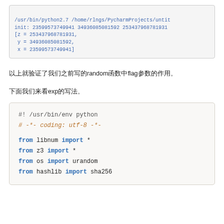[Figure (screenshot): Terminal output showing Python execution with init values: /usr/bin/python2.7 /home/rlngs/PycharmProjects/untit, init: 23599573749941 34936085081592 253437968781931, [z = 253437968781931, y = 34936085081592, x = 23599573749941]]
以上就验证了我们之前写的random函数中flag参数的作用。
下面我们来看exp的写法。
[Figure (screenshot): Python code block: shebang line, utf-8 coding comment, imports from libnum, z3, os.urandom, hashlib.sha256]